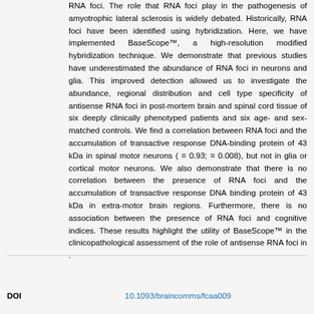RNA foci. The role that RNA foci play in the pathogenesis of amyotrophic lateral sclerosis is widely debated. Historically, RNA foci have been identified using hybridization. Here, we have implemented BaseScope™, a high-resolution modified hybridization technique. We demonstrate that previous studies have underestimated the abundance of RNA foci in neurons and glia. This improved detection allowed us to investigate the abundance, regional distribution and cell type specificity of antisense RNA foci in post-mortem brain and spinal cord tissue of six deeply clinically phenotyped patients and six age- and sex-matched controls. We find a correlation between RNA foci and the accumulation of transactive response DNA-binding protein of 43 kDa in spinal motor neurons ( = 0.93; = 0.008), but not in glia or cortical motor neurons. We also demonstrate that there is no correlation between the presence of RNA foci and the accumulation of transactive response DNA binding protein of 43 kDa in extra-motor brain regions. Furthermore, there is no association between the presence of RNA foci and cognitive indices. These results highlight the utility of BaseScope™ in the clinicopathological assessment of the role of antisense RNA foci in .
DOI   10.1093/braincomms/fcaa009